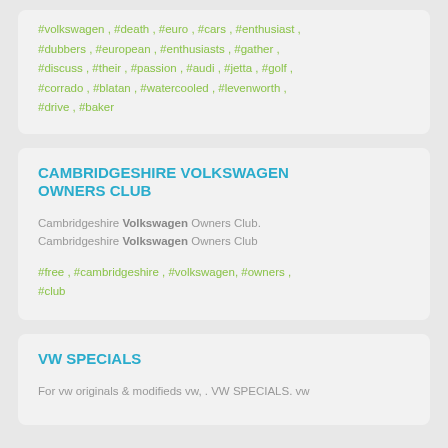#volkswagen , #death , #euro , #cars , #enthusiast , #dubbers , #european , #enthusiasts , #gather , #discuss , #their , #passion , #audi , #jetta , #golf , #corrado , #blatan , #watercooled , #levenworth , #drive , #baker
CAMBRIDGESHIRE VOLKSWAGEN OWNERS CLUB
Cambridgeshire Volkswagen Owners Club. Cambridgeshire Volkswagen Owners Club
#free , #cambridgeshire , #volkswagen, #owners , #club
VW SPECIALS
For vw originals & modifieds vw, . VW SPECIALS. vw